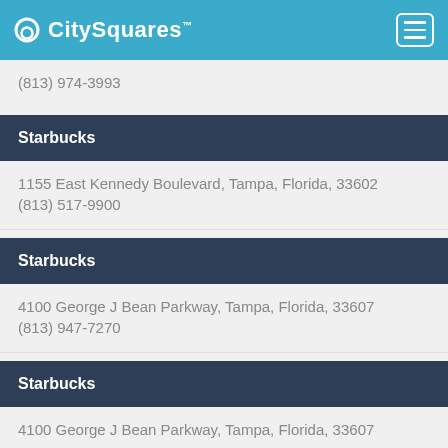CitySquares
(813) 974-3993
Starbucks
1155 East Kennedy Boulevard, Tampa, Florida, 33602
(813) 517-9900
Starbucks
4100 George J Bean Parkway, Tampa, Florida, 33607
(813) 947-7270
Starbucks
4100 George J Bean Parkway, Tampa, Florida, 33607